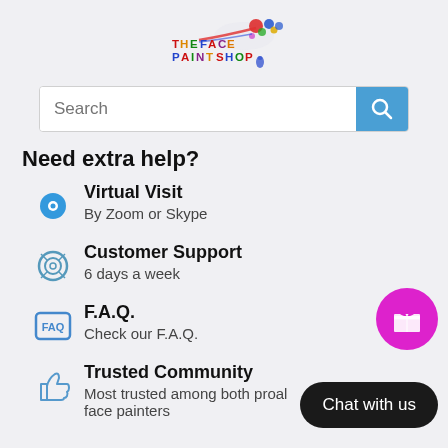[Figure (logo): The Face Paint Shop logo with colorful paint splash]
[Figure (other): Search bar with blue search button]
Need extra help?
Virtual Visit
By Zoom or Skype
Customer Support
6 days a week
F.A.Q.
Check our F.A.Q.
Trusted Community
Most trusted among both professional and casual face painters
[Figure (other): Magenta gift icon circle button]
[Figure (other): Black Chat with us button]